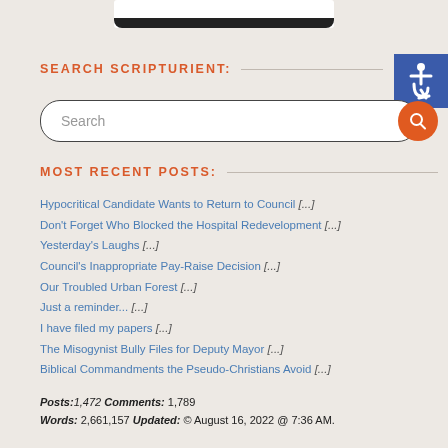[Figure (photo): Partial image of a black device/frame at the top of the page]
SEARCH SCRIPTURIENT:
[Figure (other): Search input box with orange search button icon]
[Figure (other): Blue accessibility icon (wheelchair symbol) in the top right corner]
MOST RECENT POSTS:
Hypocritical Candidate Wants to Return to Council [...]
Don't Forget Who Blocked the Hospital Redevelopment [...]
Yesterday's Laughs [...]
Council's Inappropriate Pay-Raise Decision [...]
Our Troubled Urban Forest [...]
Just a reminder... [...]
I have filed my papers [...]
The Misogynist Bully Files for Deputy Mayor [...]
Biblical Commandments the Pseudo-Christians Avoid [...]
Posts:1,472 Comments: 1,789
Words: 2,661,157 Updated: © August 16, 2022 @ 7:36 AM.